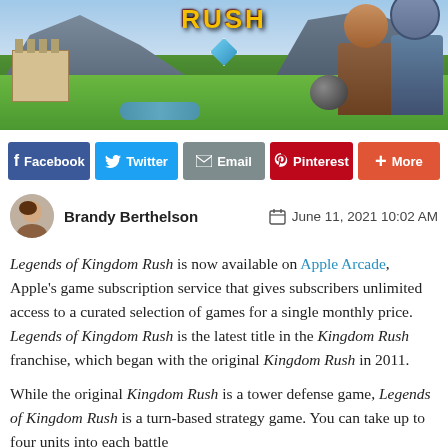[Figure (illustration): Banner image showing Kingdom Rush game art with colorful cartoon characters, landscape with castle, mountains, and game title text 'RUSH' visible at top]
[Figure (infographic): Social sharing buttons row: Facebook (blue), Twitter (light blue), Email (gray), Pinterest (red), More (orange-red)]
Brandy Berthelson   June 11, 2021 10:02 AM
Legends of Kingdom Rush is now available on Apple Arcade, Apple's game subscription service that gives subscribers unlimited access to a curated selection of games for a single monthly price. Legends of Kingdom Rush is the latest title in the Kingdom Rush franchise, which began with the original Kingdom Rush in 2011.
While the original Kingdom Rush is a tower defense game, Legends of Kingdom Rush is a turn-based strategy game. You can take up to four units into each battle